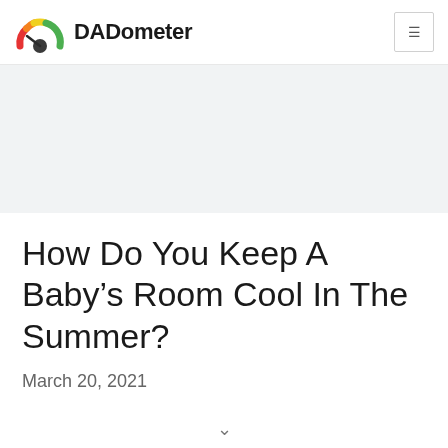DADometer
[Figure (logo): DADometer logo: a speedometer/gauge with red, orange, yellow, and green segments and a dark pointer, next to the bold text DADometer]
How Do You Keep A Baby’s Room Cool In The Summer?
March 20, 2021